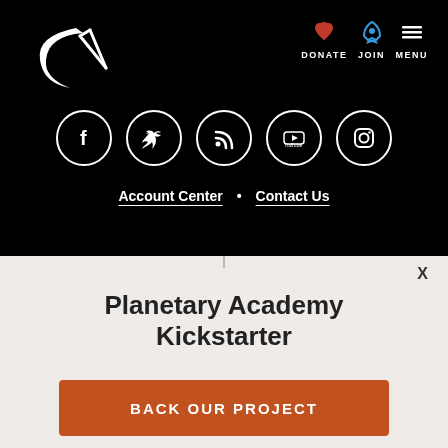[Figure (logo): Planetary Society rocket logo in white on black background]
[Figure (infographic): Navigation bar with DONATE (heart icon), JOIN (rocket icon), and MENU (hamburger icon) in white on black]
[Figure (infographic): Five social media icons in white circles: Facebook, Twitter, RSS, YouTube, Instagram]
Account Center • Contact Us
X
Planetary Academy Kickstarter
BACK OUR PROJECT